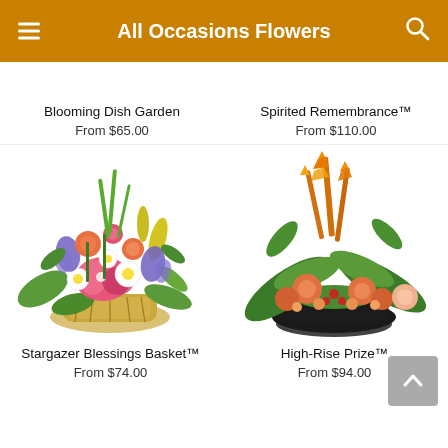All Occasions Flowers
Blooming Dish Garden
From $65.00
Spirited Remembrance™
From $110.00
[Figure (photo): Colorful flower basket arrangement with stargazer lilies, daisies, irises, and roses – Stargazer Blessings Basket]
Stargazer Blessings Basket™
From $74.00
[Figure (photo): Tropical flower arrangement with birds of paradise, orange lilies, and carnations in a dark bowl – High-Rise Prize]
High-Rise Prize™
From $94.00